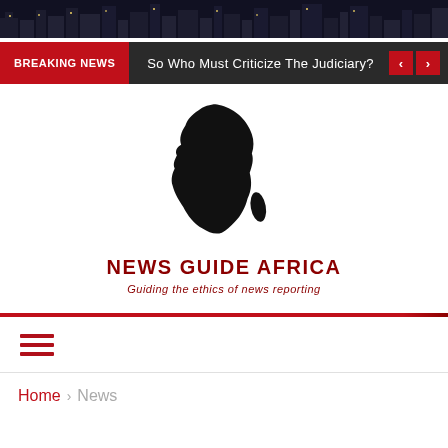[Figure (photo): City skyline at night banner image]
BREAKING NEWS  So Who Must Criticize The Judiciary?
[Figure (logo): News Guide Africa logo with Africa continent silhouette and tagline: Guiding the ethics of news reporting]
≡ (hamburger menu icon)
Home > News